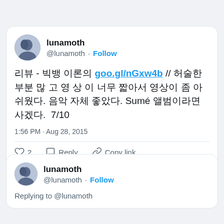[Figure (screenshot): First tweet card by lunamoth (@lunamoth) with Follow button, Korean text with goo.gl/nGxw4b link, timestamp 1:56 PM · Aug 28, 2015, like count 2, reply and copy link actions, Read 1 reply button]
[Figure (screenshot): Second tweet card by lunamoth (@lunamoth) with Follow button, showing 'Replying to @lunamoth']